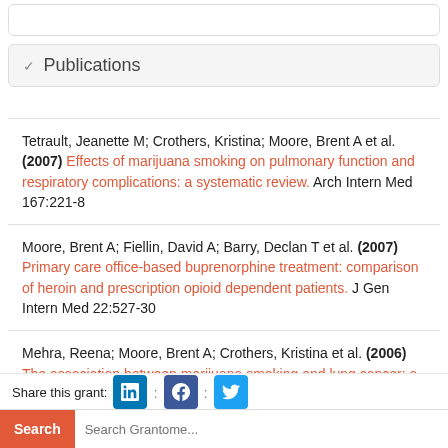Publications
Tetrault, Jeanette M; Crothers, Kristina; Moore, Brent A et al. (2007) Effects of marijuana smoking on pulmonary function and respiratory complications: a systematic review. Arch Intern Med 167:221-8
Moore, Brent A; Fiellin, David A; Barry, Declan T et al. (2007) Primary care office-based buprenorphine treatment: comparison of heroin and prescription opioid dependent patients. J Gen Intern Med 22:527-30
Mehra, Reena; Moore, Brent A; Crothers, Kristina et al. (2006) The association between marijuana smoking and lung cancer: a systematic review. Arch Intern Med 166:1359-67
Share this grant:
Search Grantome...